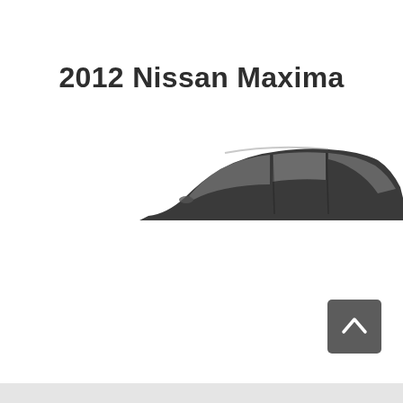2012 Nissan Maxima
[Figure (photo): Partial side view of a dark grey 2012 Nissan Maxima sedan, showing the roofline, windows, and upper body of the car cropped at the bottom.]
[Figure (other): Back-to-top navigation button — dark grey rounded rectangle with an upward-pointing chevron arrow icon.]